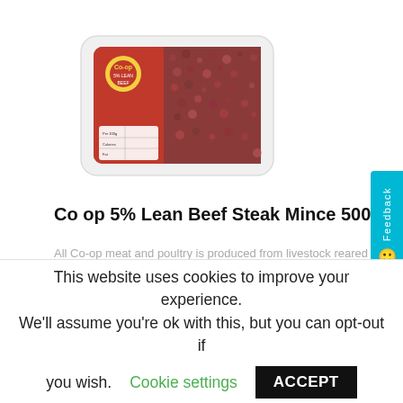[Figure (photo): A supermarket tray of Co-op 5% Lean Beef Steak Mince 500g. Red meat in a white/clear plastic tray with a red and yellow Co-op label.]
Co op 5% Lean Beef Steak Mince 500g
All Co-op meat and poultry is produced from livestock reared to our strict welfare standards. 5% Lean...
Add to basket
£4.70
This website uses cookies to improve your experience. We'll assume you're ok with this, but you can opt-out if you wish.
Cookie settings
ACCEPT